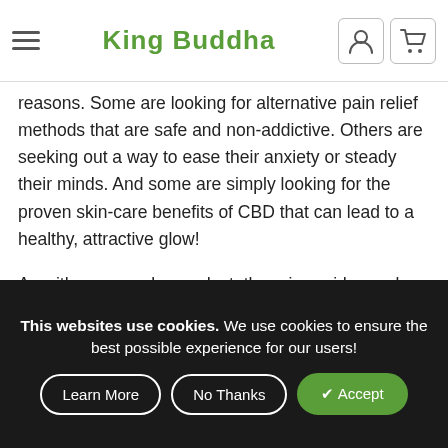King Buddha
reasons. Some are looking for alternative pain relief methods that are safe and non-addictive. Others are seeking out a way to ease their anxiety or steady their minds. And some are simply looking for the proven skin-care benefits of CBD that can lead to a healthy, attractive glow!
As with any popular product, there is a wide number of shops where you can buy CBD and CBD-infused products both locally and online. And if you're looking to shop local, you're probably trying to find the absolute best CBD shop in City, State.
This websites use cookies. We use cookies to ensure the best possible experience for our users!